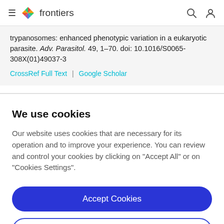frontiers
trypanosomes: enhanced phenotypic variation in a eukaryotic parasite. Adv. Parasitol. 49, 1–70. doi: 10.1016/S0065-308X(01)49037-3
CrossRef Full Text | Google Scholar
We use cookies
Our website uses cookies that are necessary for its operation and to improve your experience. You can review and control your cookies by clicking on "Accept All" or on "Cookies Settings".
Accept Cookies
Cookies Settings